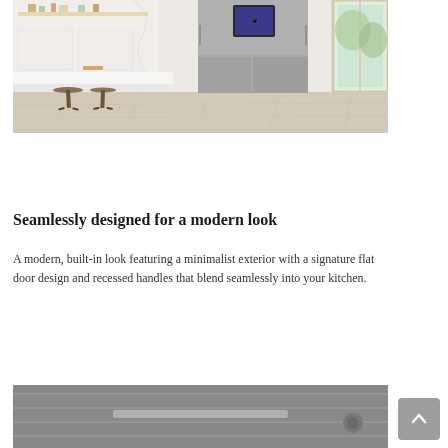[Figure (photo): Modern white kitchen with a stainless steel Samsung refrigerator with a touchscreen display, marble backsplash, wooden bar stools, and light wood flooring.]
Seamlessly designed for a modern look
A modern, built-in look featuring a minimalist exterior with a signature flat door design and recessed handles that blend seamlessly into your kitchen.
[Figure (photo): Close-up of a stainless steel refrigerator drawer or surface, partially visible at the bottom of the page.]